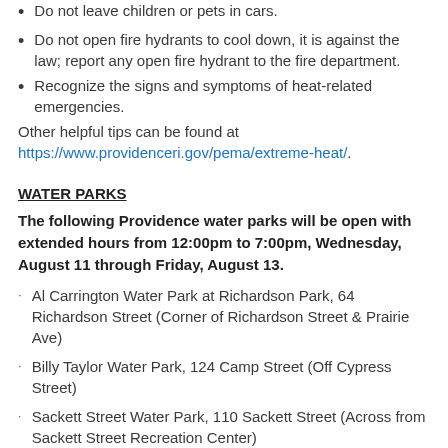Do not leave children or pets in cars.
Do not open fire hydrants to cool down, it is against the law; report any open fire hydrant to the fire department.
Recognize the signs and symptoms of heat-related emergencies.
Other helpful tips can be found at https://www.providenceri.gov/pema/extreme-heat/.
WATER PARKS
The following Providence water parks will be open with extended hours from 12:00pm to 7:00pm, Wednesday, August 11 through Friday, August 13.
Al Carrington Water Park at Richardson Park, 64 Richardson Street (Corner of Richardson Street & Prairie Ave)
Billy Taylor Water Park, 124 Camp Street (Off Cypress Street)
Sackett Street Water Park, 110 Sackett Street (Across from Sackett Street Recreation Center)